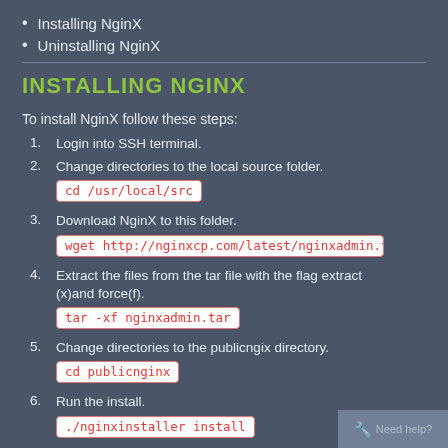Installing NginX
Uninstalling NginX
INSTALLING NGINX
To install NginX follow these steps:
1. Login into SSH terminal.
2. Change directories to the local source folder.
cd /usr/local/src
3. Download NginX to this folder.
wget http://nginxcp.com/latest/nginxadmin.tar
4. Extract the files from the tar file with the flag extract (x)and force(f).
tar -xf nginxadmin.tar
5. Change directories to the publicngix directory.
cd publicnginx
6. Run the install.
./nginxinstaller install